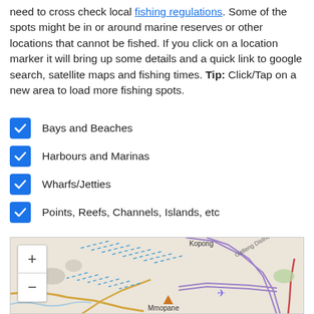need to cross check local fishing regulations. Some of the spots might be in or around marine reserves or other locations that cannot be fished. If you click on a location marker it will bring up some details and a quick link to google search, satellite maps and fishing times. Tip: Click/Tap on a new area to load more fishing spots.
Bays and Beaches
Harbours and Marinas
Wharfs/Jetties
Points, Reefs, Channels, Islands, etc
[Figure (map): OpenStreetMap showing area around Kopong and Mmopane with zoom controls, dotted blue lines indicating waterways/roads, a purple airplane marker, and an orange triangle marker.]